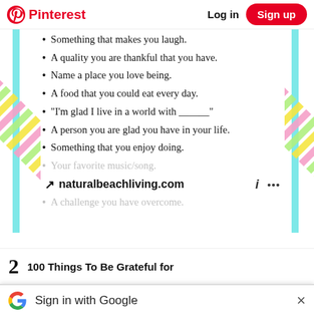Pinterest  Log in  Sign up
Something that makes you laugh.
A quality you are thankful that you have.
Name a place you love being.
A food that you could eat every day.
"I'm glad I live in a world with ______"
A person you are glad you have in your life.
Something that you enjoy doing.
Your favorite music/song.
naturalbeachliving.com
A challenge you have overcome.
2  100 Things To Be Grateful for
Sign in with Google